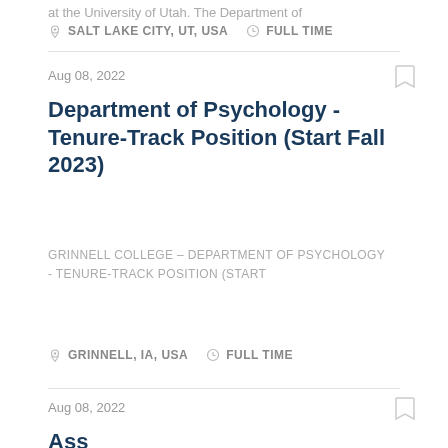at the University of Utah. The Department of
SALT LAKE CITY, UT, USA   FULL TIME
Aug 08, 2022
Department of Psychology - Tenure-Track Position (Start Fall 2023)
GRINNELL COLLEGE – DEPARTMENT OF PSYCHOLOGY - TENURE-TRACK POSITION (START
GRINNELL, IA, USA   FULL TIME
Aug 08, 2022